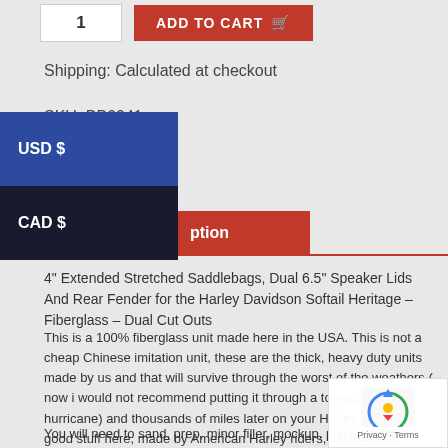1  ADD TO CART
Shipping: Calculated at checkout
SKU: BB0041
USD $
CAD $
Description
4" Extended Stretched Saddlebags, Dual 6.5" Speaker Lids And Rear Fender for the Harley Davidson Softail Heritage – Fiberglass – Dual Cut Outs
This is a 100% fiberglass unit made here in the USA. This is not a cheap Chinese imitation unit, these are the thick, heavy duty units made by us and that will survive through the worst of the weathers ( now i would not recommend putting it through a tornado or hurricane) and thousands of miles later on your Harley. Get the good stuff here, made by American Harley riders, we love our Harley's and we know you do too, we know the b... only want the best, so should you.
You will need to sand, prep, minor filler, mockup, primer & paint before